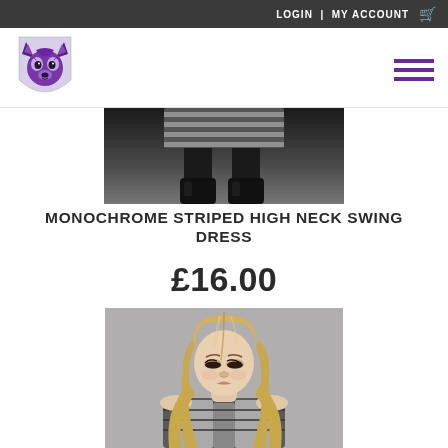LOGIN | MY ACCOUNT
[Figure (logo): Purple wolf head logo in shield shape]
[Figure (photo): Cropped top product photo showing black and white striped high neck swing dress — legs visible only, monochrome]
MONOCHROME STRIPED HIGH NECK SWING DRESS
£16.00
[Figure (photo): Model with long blonde hair looking down, wearing black and silver monochrome striped high neck swing dress, grey background]